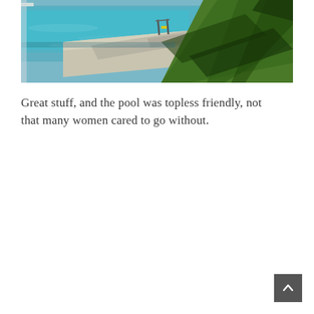[Figure (photo): Outdoor swimming area next to a body of blue-green water. A concrete walkway/dock runs along the water's edge with metal handrails visible. Green grass slopes down on the right side. Trees and shadows visible. Bright daylight.]
Great stuff, and the pool was topless friendly, not that many women cared to go without.
[Figure (other): Dark gray square button with a white upward-pointing chevron/arrow, used as a back-to-top navigation button, positioned in the bottom-right corner.]